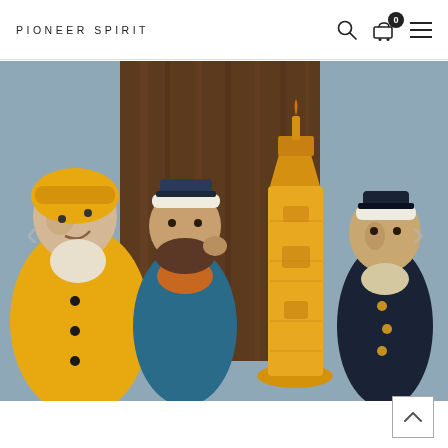PIONEER SPIRIT
[Figure (photo): Photo of three nautical figurines (a fisherman in yellow raincoat, a sailor with beard and captain's hat, and a naval officer in dark uniform) next to a beeswax lighthouse candle, set against a wooden background. Navigation arrows visible on left and right sides of image.]